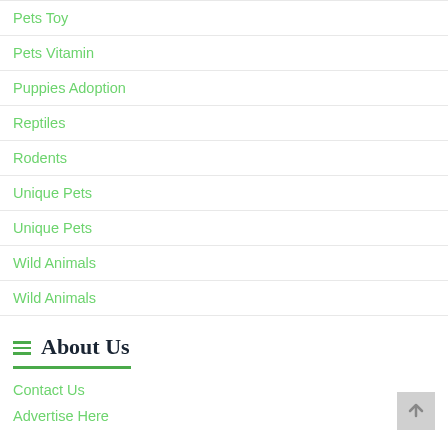Pets Toy
Pets Vitamin
Puppies Adoption
Reptiles
Rodents
Unique Pets
Unique Pets
Wild Animals
Wild Animals
About Us
Contact Us
Advertise Here